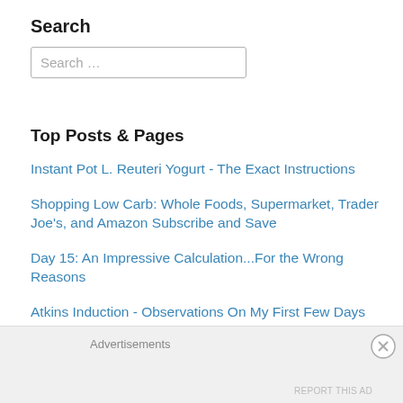Search
Search …
Top Posts & Pages
Instant Pot L. Reuteri Yogurt - The Exact Instructions
Shopping Low Carb: Whole Foods, Supermarket, Trader Joe's, and Amazon Subscribe and Save
Day 15: An Impressive Calculation...For the Wrong Reasons
Atkins Induction - Observations On My First Few Days
The Diet from Another Planet
Advertisements
REPORT THIS AD